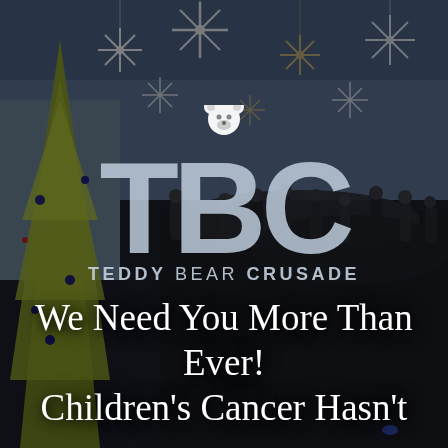[Figure (photo): Dark background photo of a crowded indoor event venue decorated with large snowflakes, a yellow/gold Christmas tree on the left, and people dressed in formal black attire. The scene appears to be a gala or charity event.]
[Figure (logo): TBC Teddy Bear Crusade logo — large silver/grey letters TBC with a white teddy bear silhouette above, and 'TEDDY BEAR CRUSADE' text below in spaced capital letters. A small TM superscript appears on the bear.]
We Need You More Than Ever! Children's Cancer Hasn't